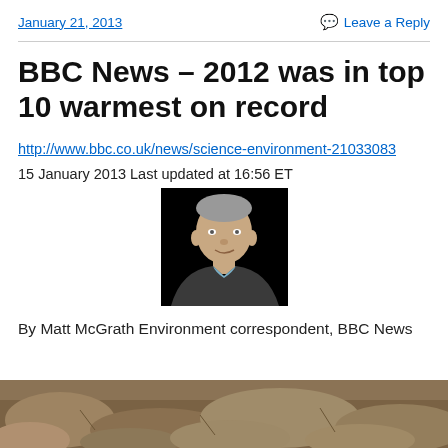January 21, 2013    Leave a Reply
BBC News – 2012 was in top 10 warmest on record
http://www.bbc.co.uk/news/science-environment-21033083
15 January 2013 Last updated at 16:56 ET
[Figure (photo): Headshot of Matt McGrath, a middle-aged man with short grey hair, against a black background, wearing a dark jacket and light blue shirt]
By Matt McGrath Environment correspondent, BBC News
[Figure (photo): Bottom portion of an outdoor rocky/arid landscape image, partially visible]